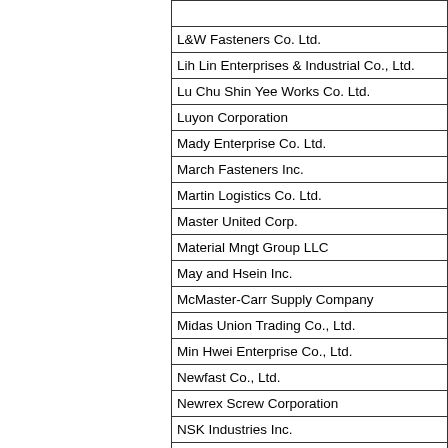| (partial row — top cut off) |
| L&W Fasteners Co. Ltd. |
| Lih Lin Enterprises & Industrial Co., Ltd. |
| Lu Chu Shin Yee Works Co. Ltd. |
| Luyon Corporation |
| Mady Enterprise Co. Ltd. |
| March Fasteners Inc. |
| Martin Logistics Co. Ltd. |
| Master United Corp. |
| Material Mngt Group LLC |
| May and Hsein Inc. |
| McMaster-Carr Supply Company |
| Midas Union Trading Co., Ltd. |
| Min Hwei Enterprise Co., Ltd. |
| Newfast Co., Ltd. |
| Newrex Screw Corporation |
| NSK Industries Inc. |
| NYTaps Fastening Systems Inc. |
| Okabe Corporation |
| On Time Taiwan Ltd. |
| P&R Fasteners Inc. |
| Pacific Fasteners U.S. Inc. |